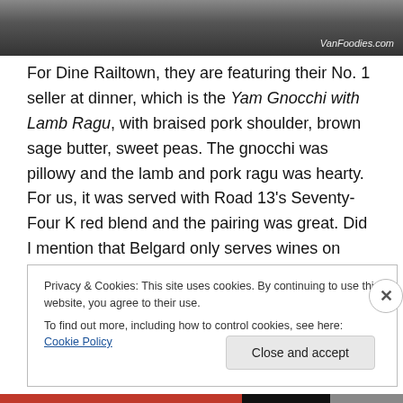[Figure (photo): Top portion of a restaurant interior photo with 'VanFoodies.com' watermark in white italic text at bottom right]
For Dine Railtown, they are featuring their No. 1 seller at dinner, which is the Yam Gnocchi with Lamb Ragu, with braised pork shoulder, brown sage butter, sweet peas. The gnocchi was pillowy and the lamb and pork ragu was hearty. For us, it was served with Road 13's Seventy-Four K red blend and the pairing was great. Did I mention that Belgard only serves wines on tap? Currently they have 34 wines on tap, 17 reds, 14 whites and 3 rose, all BC VQA wines.
Privacy & Cookies: This site uses cookies. By continuing to use this website, you agree to their use.
To find out more, including how to control cookies, see here: Cookie Policy
Close and accept